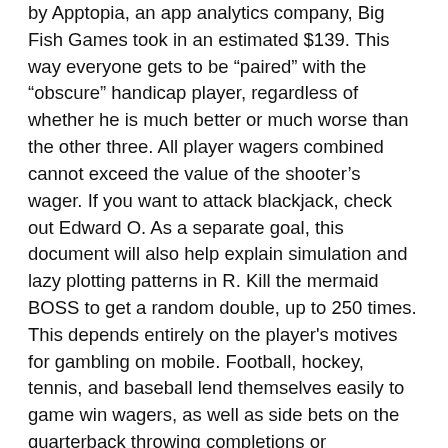by Apptopia, an app analytics company, Big Fish Games took in an estimated $139. This way everyone gets to be "paired" with the "obscure" handicap player, regardless of whether he is much better or much worse than the other three. All player wagers combined cannot exceed the value of the shooter's wager. If you want to attack blackjack, check out Edward O. As a separate goal, this document will also help explain simulation and lazy plotting patterns in R. Kill the mermaid BOSS to get a random double, up to 250 times. This depends entirely on the player's motives for gambling on mobile. Football, hockey, tennis, and baseball lend themselves easily to game win wagers, as well as side bets on the quarterback throwing completions or interceptions, fights on the ice, successful versus unsuccessful match points, and walk offs. Call 1 800 GAMBLER NJ/WV/PA/MI, 1 800 9 WITH IT IN, 1 800 522 4700 CO, 1 800 BETS OFF IA, 1 888 532 3500 VA or call/text TN REDLINE 1 800 889 9789 TN. Will